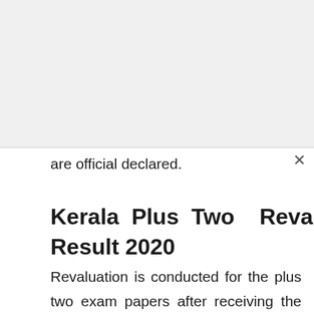are official declared.
Kerala Plus Two Revaluation Result 2020
Revaluation is conducted for the plus two exam papers after receiving the applications from the examines. Generally, candidates scored less marks in the plus two exams will apply for the rechecking or revaluation. The process will start immediately after the DHSE Result 2020 of Kerala is released. Complete details will be